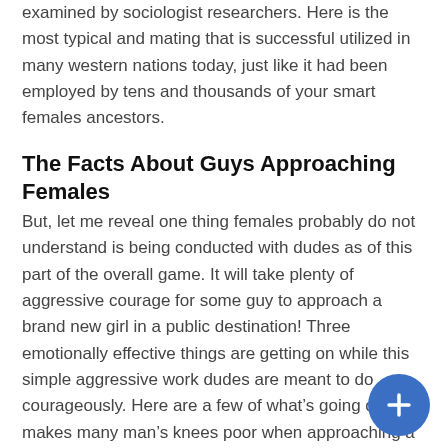examined by sociologist researchers. Here is the most typical and mating that is successful utilized in many western nations today, just like it had been employed by tens and thousands of your smart females ancestors.
The Facts About Guys Approaching Females
But, let me reveal one thing females probably do not understand is being conducted with dudes as of this part of the overall game. It will take plenty of aggressive courage for some guy to approach a brand new girl in a public destination! Three emotionally effective things are getting on while this simple aggressive work dudes are meant to do courageously. Here are a few of what’s going on that makes many man’s knees poor when approaching a female to state their opening line:
The man gives a woman stranger the power to publicly judge him and announce her opinion to the